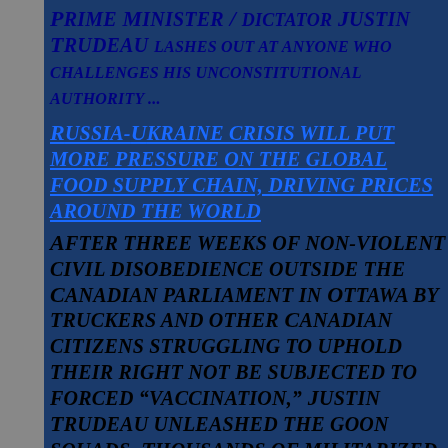Prime Minister / dictator Justin Trudeau lashes out at anyone who challenges his unconstitutional authority ...
Russia-Ukraine crisis will put more pressure on the global food supply chain, driving prices around the world
After three weeks of non-violent civil disobedience outside the Canadian parliament in Ottawa by truckers and other Canadian citizens struggling to uphold their right not be subjected to forced “vaccination,” Justin Trudeau unleashed the goon squads. Thousands of militarized riot police (and other unidentified heavily armed operatives) swarmed the area.